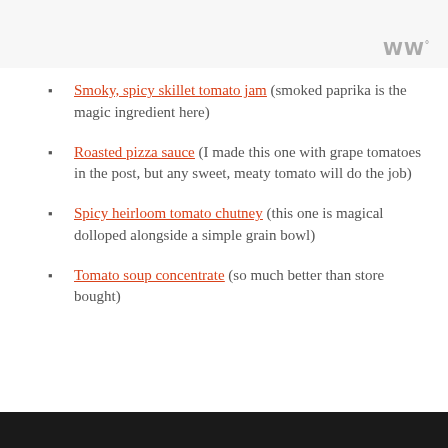Smoky, spicy skillet tomato jam (smoked paprika is the magic ingredient here)
Roasted pizza sauce (I made this one with grape tomatoes in the post, but any sweet, meaty tomato will do the job)
Spicy heirloom tomato chutney (this one is magical dolloped alongside a simple grain bowl)
Tomato soup concentrate (so much better than store bought)